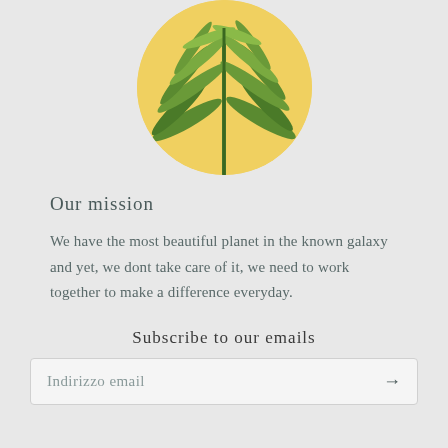[Figure (photo): A circular cropped photo of a cannabis/hemp plant with green leaves against a bright yellow/cream background.]
Our mission
We have the most beautiful planet in the known galaxy and yet, we dont take care of it, we need to work together to make a difference everyday.
Subscribe to our emails
Indirizzo email